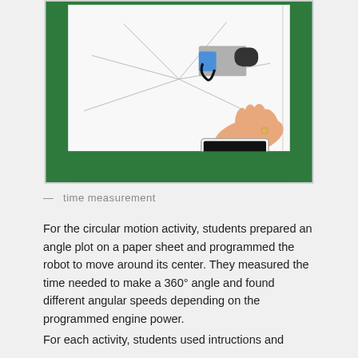[Figure (photo): A robot on a white paper sheet mounted on a green board. The paper has angle lines drawn on it forming a spider-web/angle plot pattern. A hand is holding a smartphone showing a timer (00:00:00) at the bottom right of the image.]
— time measurement
For the circular motion activity, students prepared an angle plot on a paper sheet and programmed the robot to move around its center. They measured the time needed to make a 360° angle and found different angular speeds depending on the programmed engine power.
For each activity, students used intructions and